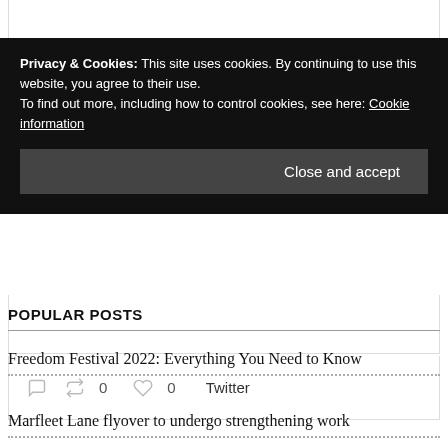Privacy & Cookies: This site uses cookies. By continuing to use this website, you agree to their use. To find out more, including how to control cookies, see here: Cookie information
Close and accept
0   0   Twitter
POPULAR POSTS
Freedom Festival 2022: Everything You Need to Know
Marfleet Lane flyover to undergo strengthening work